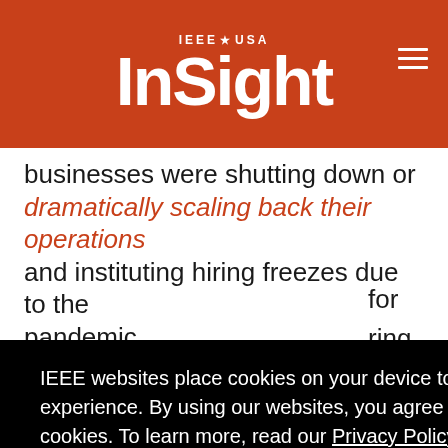IEEE★USA InSight
businesses were shutting down or dramatically scaling back their operations and instituting hiring freezes due to the pandemic.
IEEE websites place cookies on your device to give you the best user experience. By using our websites, you agree to the placement of these cookies. To learn more, read our Privacy Policy.
Accept & Close